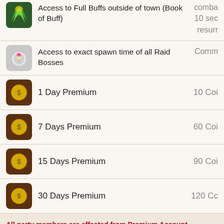Access to Full Buffs outside of town (Book of Buff)
Access to exact spawn time of all Raid Bosses
1 Day Premium
7 Days Premium
15 Days Premium
30 Days Premium
All party members are affected from Premium Account,
Example: If there are 9 members in your party and only 1